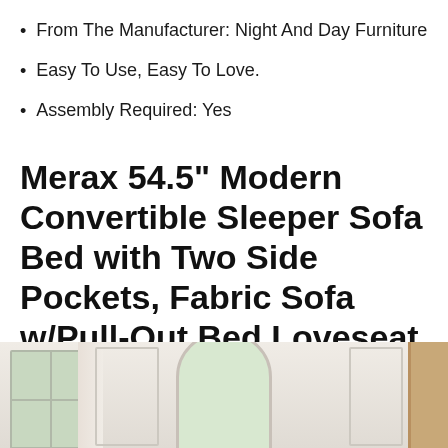From The Manufacturer: Night And Day Furniture
Easy To Use, Easy To Love.
Assembly Required: Yes
Merax 54.5” Modern Convertible Sleeper Sofa Bed with Two Side Pockets, Fabric Sofa w/Pull-Out Bed Loveseat Sofa Couch and Adjsutable Back for Living Room (Grey)
[Figure (photo): Interior room photo showing a living room with white paneled walls, a window on the left with greenery outside, an arched mirror or doorway in the center, and a wood shelf unit on the right. Light neutral tones throughout.]